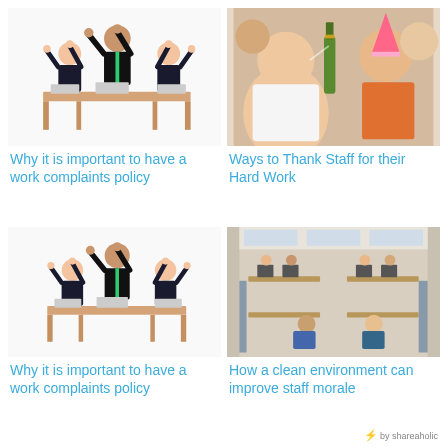[Figure (illustration): Cartoon illustration of business people celebrating with arms raised at a table with laptops]
Why it is important to have a work complaints policy
[Figure (photo): Photo of group of young people celebrating, clinking beer bottles, wearing party hats]
Ways to Thank Staff for their Hard Work
[Figure (illustration): Cartoon illustration of business people celebrating with arms raised at a table with laptops]
Why it is important to have a work complaints policy
[Figure (photo): Photo of a large open plan office with people working at desks]
How a clean environment can improve staff morale
by shareaholic